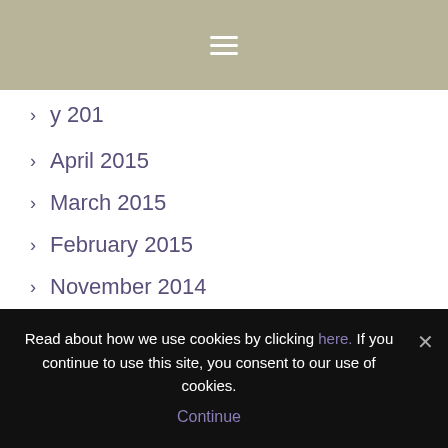≡
April 2015
March 2015
February 2015
November 2014
October 2014
September 2014
August 2014
July 2014
Read about how we use cookies by clicking here. If you continue to use this site, you consent to our use of cookies. Continue